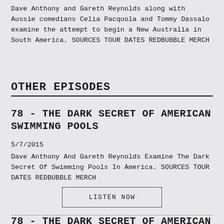Dave Anthony and Gareth Reynolds along with Aussie comedians Celia Pacquola and Tommy Dassalo examine the attempt to begin a New Australia in South America. SOURCES TOUR DATES REDBUBBLE MERCH
OTHER EPISODES
78 - THE DARK SECRET OF AMERICAN SWIMMING POOLS
5/7/2015
Dave Anthony And Gareth Reynolds Examine The Dark Secret Of Swimming Pools In America. SOURCES TOUR DATES REDBUBBLE MERCH
LISTEN NOW
78 - THE DARK SECRET OF AMERICAN